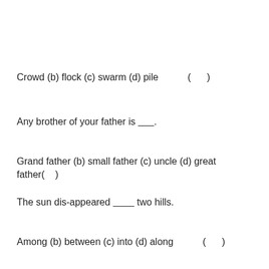Crowd (b) flock (c) swarm (d) pile          (      )
Any brother of your father is ______.
Grand father (b) small father (c) uncle (d) great father(    )
The sun dis-appeared ________ two hills.
Among (b) between (c) into (d) along          (      )